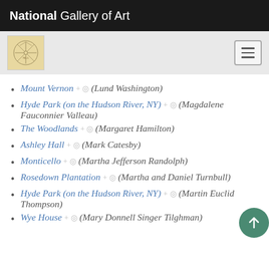National Gallery of Art
Mount Vernon + ◎ (Lund Washington)
Hyde Park (on the Hudson River, NY) + ◎ (Magdalene Fauconnier Valleau)
The Woodlands + ◎ (Margaret Hamilton)
Ashley Hall + ◎ (Mark Catesby)
Monticello + ◎ (Martha Jefferson Randolph)
Rosedown Plantation + ◎ (Martha and Daniel Turnbull)
Hyde Park (on the Hudson River, NY) + ◎ (Martin Euclid Thompson)
Wye House + ◎ (Mary Donnell Singer Tilghman)